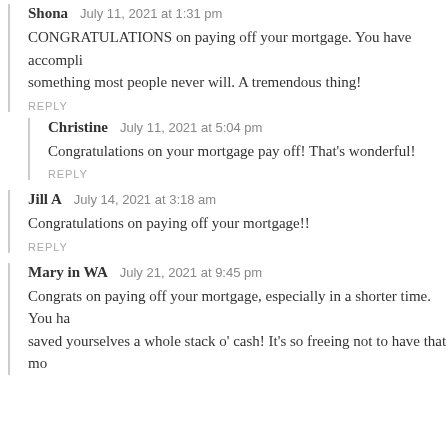Shona   July 11, 2021 at 1:31 pm
CONGRATULATIONS on paying off your mortgage. You have accomplished something most people never will. A tremendous thing!
REPLY
Christine   July 11, 2021 at 5:04 pm
Congratulations on your mortgage pay off! That's wonderful!
REPLY
Jill A   July 14, 2021 at 3:18 am
Congratulations on paying off your mortgage!!
REPLY
Mary in WA   July 21, 2021 at 9:45 pm
Congrats on paying off your mortgage, especially in a shorter time. You have saved yourselves a whole stack o' cash! It's so freeing not to have that mo...